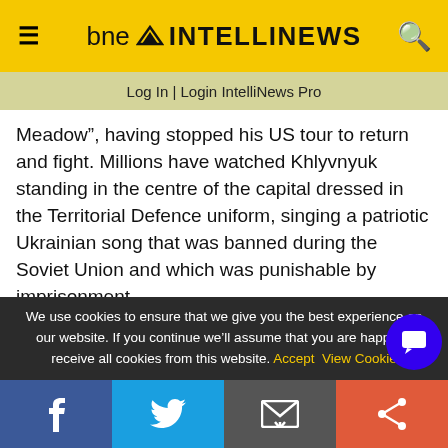bne INTELLINEWS
Log In | Login IntelliNews Pro
Meadow”, having stopped his US tour to return and fight. Millions have watched Khlyvnyuk standing in the centre of the capital dressed in the Territorial Defence uniform, singing a patriotic Ukrainian song that was banned during the Soviet Union and which was punishable by imprisonment.
Several foreign artists were inspired by Khlyvnyuk’s rendition, including legendary rock band Pink Floyd.
We use cookies to ensure that we give you the best experience on our website. If you continue we'll assume that you are happy to receive all cookies from this website. Accept  View Cookie